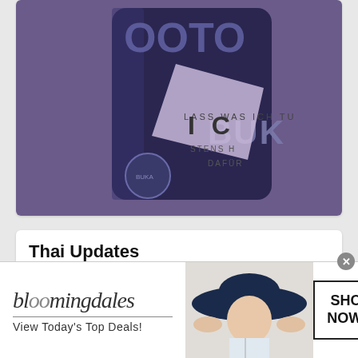[Figure (photo): A dark purple/navy tin can with text 'BUKA' visible on the right side and a tag/label reading 'ICH' with smaller text partially visible. Purple/lavender background.]
Thai Updates
[Figure (photo): Two young men smiling at camera in front of a latticed background.]
[Figure (photo): Partially visible figure on right side thumbnail.]
[Figure (infographic): Bloomingdale's advertisement banner. Logo reads 'bloomingdales' in lowercase italic serif font. Text: 'View Today's Top Deals!' with a woman wearing a large dark blue hat. Button: 'SHOP NOW >']